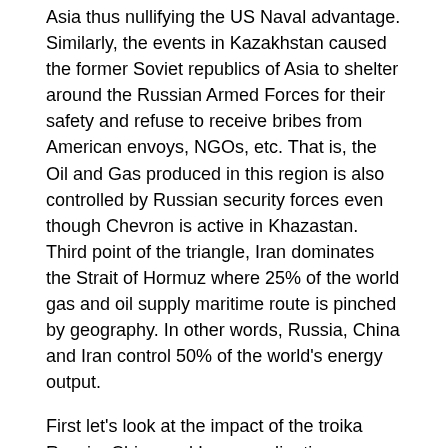Asia thus nullifying the US Naval advantage. Similarly, the events in Kazakhstan caused the former Soviet republics of Asia to shelter around the Russian Armed Forces for their safety and refuse to receive bribes from American envoys, NGOs, etc. That is, the Oil and Gas produced in this region is also controlled by Russian security forces even though Chevron is active in Khazastan. Third point of the triangle, Iran dominates the Strait of Hormuz where 25% of the world gas and oil supply maritime route is pinched by geography. In other words, Russia, China and Iran control 50% of the world's energy output.
First let's look at the impact of the troika Russia, China and Iran coordination.
In any confrontation in Eastern Europe, the US is overextended and without sufficient forces in NATO…..therefore Russia can and has threatened the Eastern front of NATO with capability to overwhelm them…….NATO is hastily trying to reinforce this eastern front but it is too late the Russians have deployed a very well armed force capable of crushing NATO in all directions.
If anything bad happens the Russians may paralyze all gas